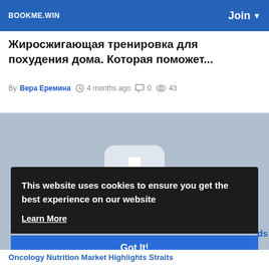BOOKME.WIN   Join ▼
Жиросжигающая тренировка для похудения дома. Которая поможет...
By Вера Еремина  4 months ago  💬 0  👁 43
[Figure (photo): Placeholder image with light blue-grey background and generic image icon]
This website uses cookies to ensure you get the best experience on our website
Learn More
Got It!
Oncology Nutrition Market Highlights Straits